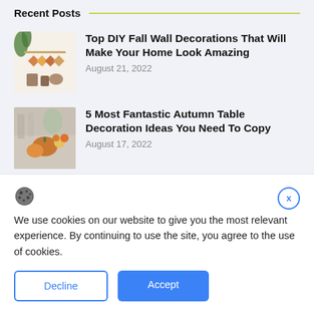Recent Posts
Top DIY Fall Wall Decorations That Will Make Your Home Look Amazing
August 21, 2022
5 Most Fantastic Autumn Table Decoration Ideas You Need To Copy
August 17, 2022
We use cookies on our website to give you the most relevant experience. By continuing to use the site, you agree to the use of cookies.